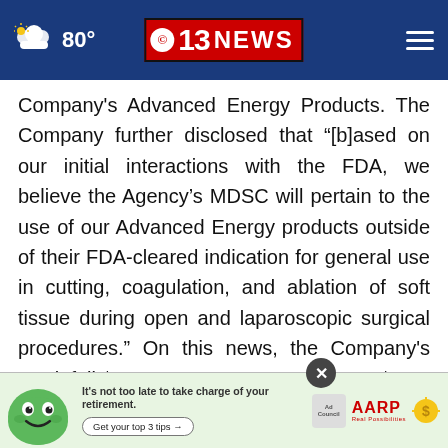80° | 13 NEWS
Company's Advanced Energy Products. The Company further disclosed that “[b]ased on our initial interactions with the FDA, we believe the Agency’s MDSC will pertain to the use of our Advanced Energy products outside of their FDA-cleared indication for general use in cutting, coagulation, and ablation of soft tissue during open and laparoscopic surgical procedures.” On this news, the Company's stock fell $4.02, or over 40%, to close at $5.66 per share on March 14, 20
[Figure (other): AARP advertisement banner with green mascot character, text 'It’s not too late to take charge of your retirement. Get your top 3 tips', Ad Council logo, and AARP logo]